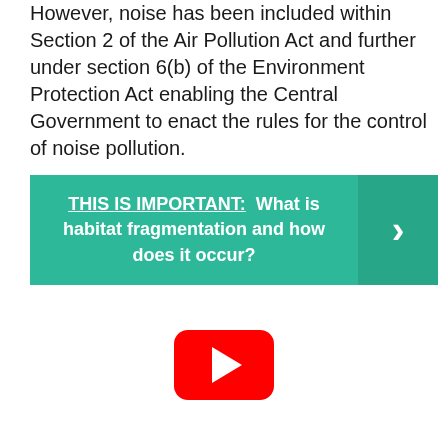However, noise has been included within Section 2 of the Air Pollution Act and further under section 6(b) of the Environment Protection Act enabling the Central Government to enact the rules for the control of noise pollution.
[Figure (infographic): Green banner with text 'THIS IS IMPORTANT: What is habitat fragmentation and how does it occur?' with a right-arrow chevron on the right side in a darker green box.]
[Figure (other): YouTube play button icon — red rounded rectangle with white triangle play arrow.]